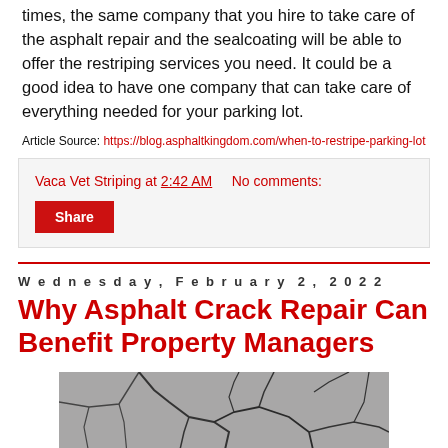times, the same company that you hire to take care of the asphalt repair and the sealcoating will be able to offer the restriping services you need. It could be a good idea to have one company that can take care of everything needed for your parking lot.
Article Source: https://blog.asphaltkingdom.com/when-to-restripe-parking-lot
Vaca Vet Striping at 2:42 AM    No comments:
Share
Wednesday, February 2, 2022
Why Asphalt Crack Repair Can Benefit Property Managers
[Figure (photo): Cracked asphalt surface showing a network of cracks on a grey pavement]